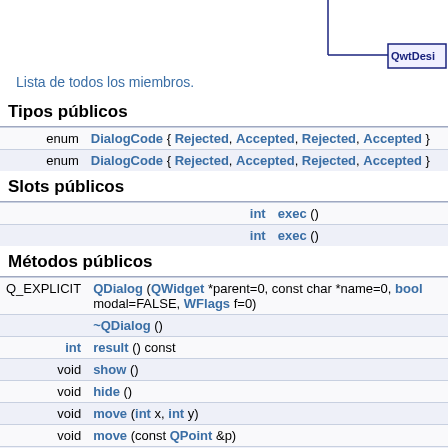[Figure (engineering-diagram): Partial UML class diagram showing QwtDesigner class box in top-right corner with connecting lines]
Lista de todos los miembros.
Tipos públicos
| enum | DialogCode { Rejected, Accepted, Rejected, Accepted } |
| enum | DialogCode { Rejected, Accepted, Rejected, Accepted } |
Slots públicos
| int | exec () |
| int | exec () |
Métodos públicos
| Q_EXPLICIT | QDialog (QWidget *parent=0, const char *name=0, bool modal=FALSE, WFlags f=0) |
|  | ~QDialog () |
| int | result () const |
| void | show () |
| void | hide () |
| void | move (int x, int y) |
| void | move (const QPoint &p) |
| void | resize (int w, int h) |
| void | resize (const QSize &) |
| void | setGeometry (int x, int y, int w, int h) |